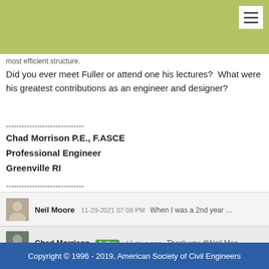most efficient structure.
Did you ever meet Fuller or attend one his lectures?  What were his greatest contributions as an engineer and designer?
------------------------------
Chad Morrison P.E., F.ASCE
Professional Engineer
Greenville RI
------------------------------
Neil Moore  11-29-2021 07:08 PM   When I was a 2nd year ...
Chad Morrison  Author  17 days ago   Thank you @Neil Moo...
William Bala  11 days ago   He had the motivation of a bod...
Copyright © 1996 - 2019, American Society of Civil Engineers